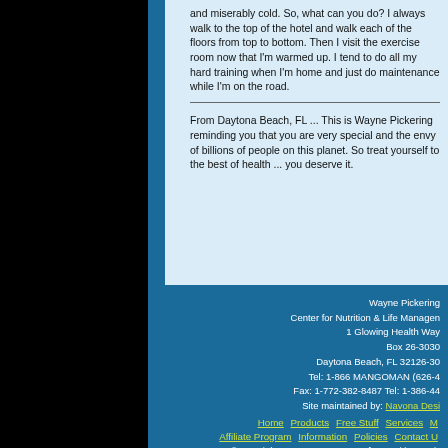and miserably cold. So, what can you do? I always walk to the top of the hotel and walk each of the floors from top to bottom. Then I visit the exercise room now that I'm warmed up. I tend to do all my hard training when I'm home and just do maintenance while I'm on the road.
From Daytona Beach, FL ... This is Wayne Pickering reminding you that you are very special and the envy of billions of people on this planet. So treat yourself to the best of health ... you deserve it.
Wayne Pickering
Center for Nutrition & Life Management
1 Glowing Health Way
Box 26-3030
Daytona Beach, FL 32126-30
Tel: 1-866 MANGOMAN (626-4
Fax: 1-772-382-8487 Tel: 1-386-44
Site maintained by: Navona Desi
Home  Products  Free Stuff  Services  M
Affiliate Program  Information  Policies  Contact U
©Copyright 1997 - 2005  Center for Nutrition & Li
ALL RIGHTS RESERVED